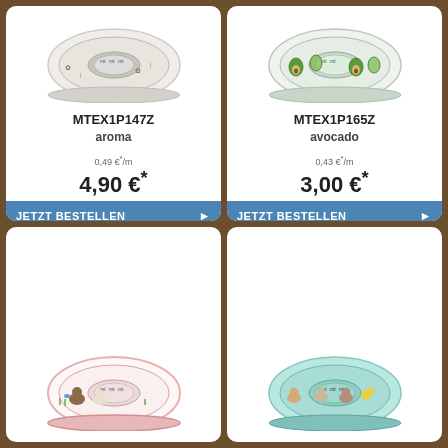[Figure (illustration): Product card for MTEX1P147Z aroma washi tape roll - white tape with botanical/text pattern, labeled mt mt mt on core]
MTEX1P147Z
aroma
0,49 €*/m
4,90 €*
JETZT BESTELLEN ▶
[Figure (illustration): Product card for MTEX1P165Z avocado washi tape roll - white tape with avocado pattern, labeled mt mt on core]
MTEX1P165Z
avocado
0,43 €*/m
3,00 €*
JETZT BESTELLEN ▶
[Figure (illustration): Product card bottom-left: washi tape roll with pink border, animals (bear, dogs, birds) pattern, labeled mt mt mt]
[Figure (illustration): Product card bottom-right: washi tape roll with mint/teal background, dogs/pets pattern, labeled mt mt mt]